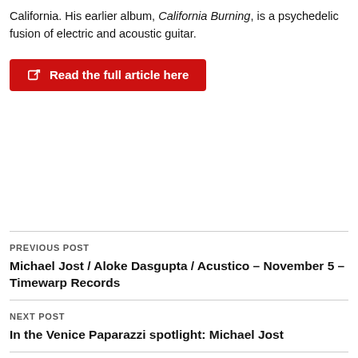California. His earlier album, California Burning, is a psychedelic fusion of electric and acoustic guitar.
Read the full article here
PREVIOUS POST
Michael Jost / Aloke Dasgupta / Acustico – November 5 – Timewarp Records
NEXT POST
In the Venice Paparazzi spotlight: Michael Jost